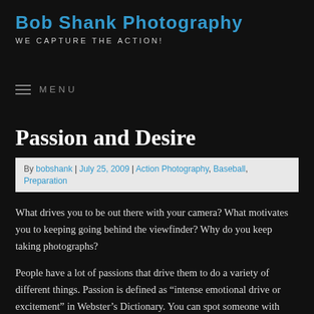Bob Shank Photography
WE CAPTURE THE ACTION!
MENU
Passion and Desire
By bobshank | July 25, 2009 | Action Photography, Baseball, Preparation
What drives you to be out there with your camera? What motivates you to keeping going behind the viewfinder? Why do you keep taking photographs?
People have a lot of passions that drive them to do a variety of different things. Passion is defined as “intense emotional drive or excitement” in Webster’s Dictionary. You can spot someone with passion a mile away. It comes pouring out in obvious ways that cannot be missed.